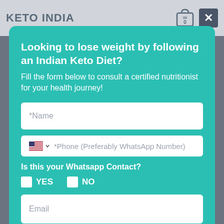KETO INDIA
[Figure (screenshot): Modal popup form on Keto India website]
Looking to lose weight by following an Indian Keto Diet?
Fill the form below to consult a certified nutritionist for your health journey!
*Name
*Phone (Preferably WhatsApp Number)
Is this your Whatsapp Contact?
YES
NO
Email
SUBMIT